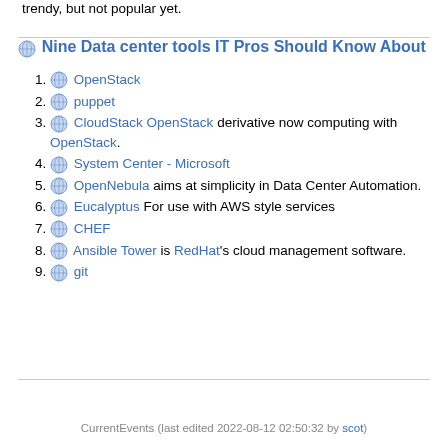trendy, but not popular yet.
Nine Data center tools IT Pros Should Know About
OpenStack
puppet
CloudStack OpenStack derivative now computing with OpenStack.
System Center - Microsoft
OpenNebula aims at simplicity in Data Center Automation.
Eucalyptus For use with AWS style services
CHEF
Ansible Tower is RedHat's cloud management software.
git
CurrentEvents (last edited 2022-08-12 02:50:32 by scot)